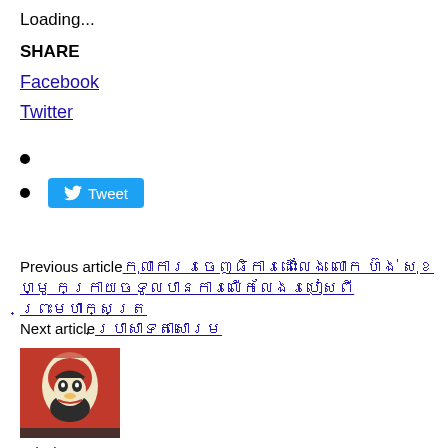Loading...
SHARE
Facebook
Twitter
Tweet
Previous articleកុណលកមចេញតឹកាកេតើណញ លោក ហឹញ សុខ័ួ ក្រាយត᝿᝽នកមលើកលើញឞេគសតិព្រែមហាកញជ្រក
Next articleប័សានសនាសែយ
[Figure (illustration): Guy Fawkes / Anonymous mask stylized poster image in red, white, and dark colors]
admin
RELATED ARTICLESMORE FROM AUTHOR